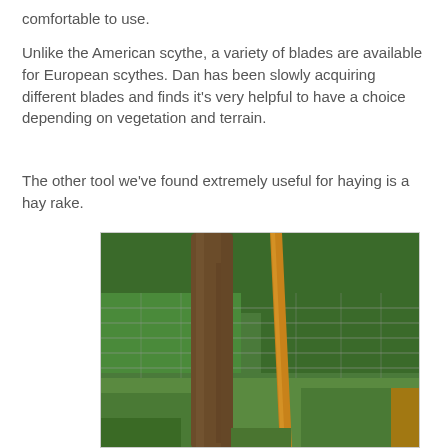comfortable to use.
Unlike the American scythe, a variety of blades are available for European scythes. Dan has been slowly acquiring different blades and finds it's very helpful to have a choice depending on vegetation and terrain.
The other tool we've found extremely useful for haying is a hay rake.
[Figure (photo): Outdoor photo showing a tree trunk and a yellow/orange wooden stick (hay rake handle) leaning against a wire fence, surrounded by green grass and foliage.]